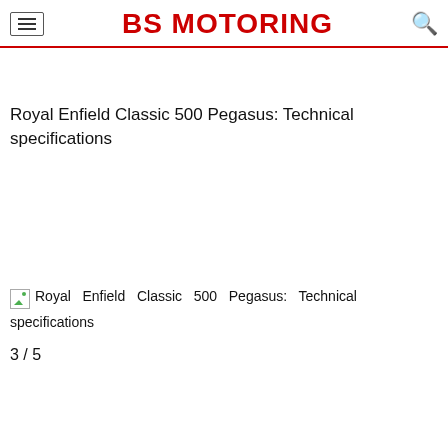BS MOTORING
Royal Enfield Classic 500 Pegasus: Technical specifications
[Figure (photo): Broken image placeholder for Royal Enfield Classic 500 Pegasus: Technical specifications]
Royal Enfield Classic 500 Pegasus: Technical specifications
3 / 5